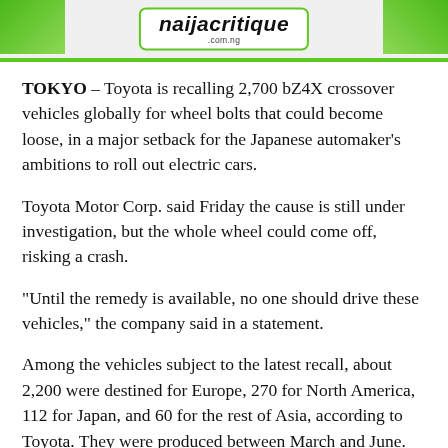naijacritique.com.ng
TOKYO – Toyota is recalling 2,700 bZ4X crossover vehicles globally for wheel bolts that could become loose, in a major setback for the Japanese automaker's ambitions to roll out electric cars.
Toyota Motor Corp. said Friday the cause is still under investigation, but the whole wheel could come off, risking a crash.
“Until the remedy is available, no one should drive these vehicles,” the company said in a statement.
Among the vehicles subject to the latest recall, about 2,200 were destined for Europe, 270 for North America, 112 for Japan, and 60 for the rest of Asia, according to Toyota. They were produced between March and June.